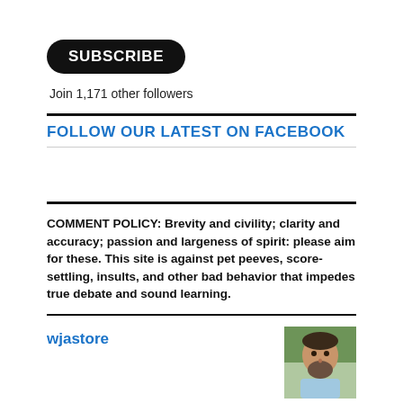[Figure (other): SUBSCRIBE button — black rounded rectangle with white bold text]
Join 1,171 other followers
FOLLOW OUR LATEST ON FACEBOOK
COMMENT POLICY: Brevity and civility; clarity and accuracy; passion and largeness of spirit: please aim for these. This site is against pet peeves, score-settling, insults, and other bad behavior that impedes true debate and sound learning.
wjastore
[Figure (photo): Headshot photo of a man with a beard wearing a light blue shirt, outdoors]
Creator of Bracing Views. Contributor to TomDispatch, Truthout, HNN